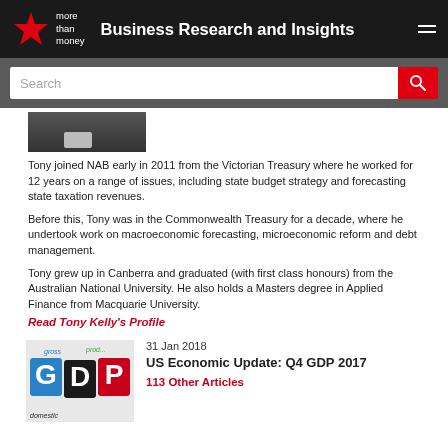Business Research and Insights
[Figure (screenshot): Search bar with red search button on grey background]
[Figure (photo): Partial photo of a man in a suit and tie]
Tony joined NAB early in 2011 from the Victorian Treasury where he worked for 12 years on a range of issues, including state budget strategy and forecasting state taxation revenues.
Before this, Tony was in the Commonwealth Treasury for a decade, where he undertook work on macroeconomic forecasting, microeconomic reform and debt management.
Tony grew up in Canberra and graduated (with first class honours) from the Australian National University. He also holds a Masters degree in Applied Finance from Macquarie University.
Read Tony Kelly's Profile
31 Jan 2018
US Economic Update: Q4 GDP 2017
113 Other Articles
[Figure (photo): GDP letters made of colorful blocks with words gross, domestic, product around them]